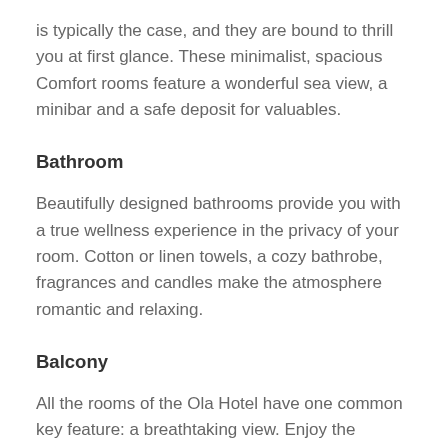is typically the case, and they are bound to thrill you at first glance. These minimalist, spacious Comfort rooms feature a wonderful sea view, a minibar and a safe deposit for valuables.
Bathroom
Beautifully designed bathrooms provide you with a true wellness experience in the privacy of your room. Cotton or linen towels, a cozy bathrobe, fragrances and candles make the atmosphere romantic and relaxing.
Balcony
All the rooms of the Ola Hotel have one common key feature: a breathtaking view. Enjoy the sunrise or the sunset on your wonderfully designed private balcony.